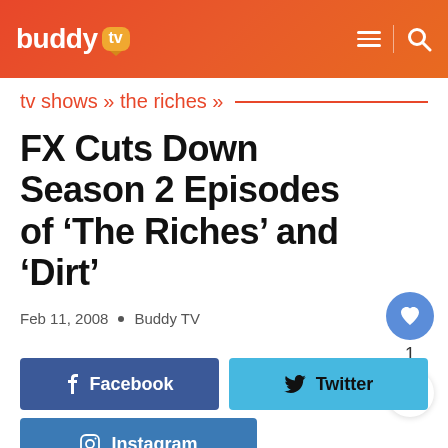buddy tv
tv shows » the riches »
FX Cuts Down Season 2 Episodes of 'The Riches' and 'Dirt'
Feb 11, 2008  •  Buddy TV
Facebook
Twitter
Instagram